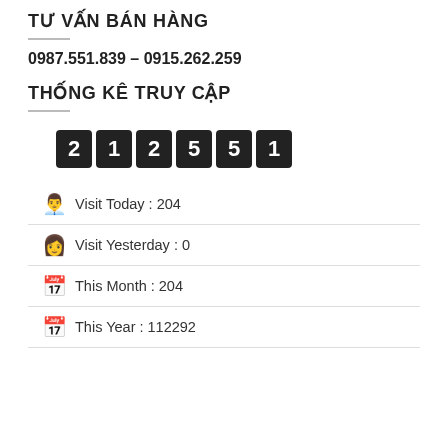TƯ VẤN BÁN HÀNG
0987.551.839 – 0915.262.259
THỐNG KÊ TRUY CẬP
[Figure (other): Digital counter showing 212551]
Visit Today : 204
Visit Yesterday : 0
This Month : 204
This Year : 112292